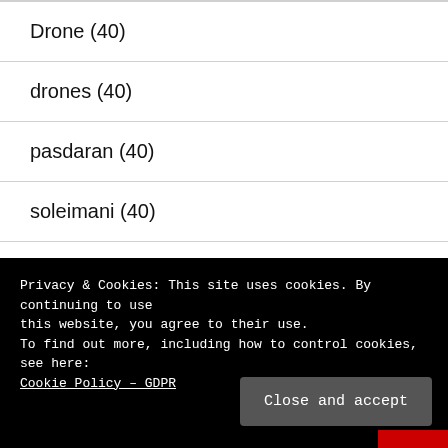Drone (40)
drones (40)
pasdaran (40)
soleimani (40)
UAE (39)
Privacy & Cookies: This site uses cookies. By continuing to use this website, you agree to their use.
To find out more, including how to control cookies, see here:
Cookie Policy – GDPR
Close and accept